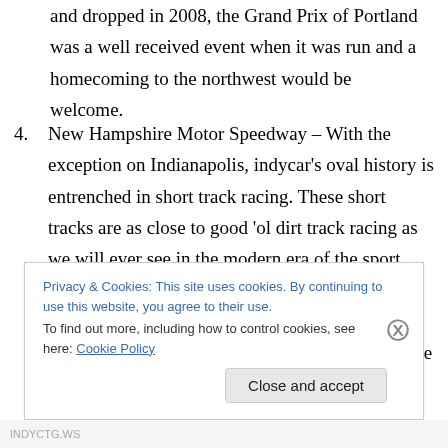and dropped in 2008, the Grand Prix of Portland was a well received event when it was run and a homecoming to the northwest would be welcome.
4. New Hampshire Motor Speedway – With the exception on Indianapolis, indycar's oval history is entrenched in short track racing. These short tracks are as close to good 'ol dirt track racing as we will ever see in the modern era of the sport. Although Loudon is a track with almost no open wheel history to speak of, short and unique ovals are in low supply and any that can be had, must be taken advantage of.
Privacy & Cookies: This site uses cookies. By continuing to use this website, you agree to their use. To find out more, including how to control cookies, see here: Cookie Policy